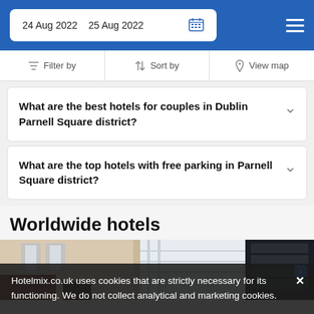24 Aug 2022   25 Aug 2022
Filter by   Sort by   View map
What are the best hotels for couples in Dublin Parnell Square district?
What are the top hotels with free parking in Parnell Square district?
Worldwide hotels
[Figure (photo): Hotel interior photo showing a lobby or room with white walls, windows, and dark furnishings]
Hotelmix.co.uk uses cookies that are strictly necessary for its functioning. We do not collect analytical and marketing cookies.